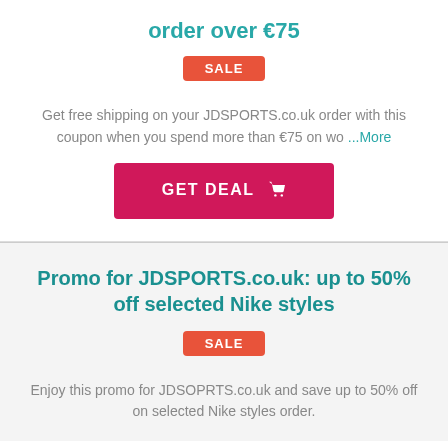order over €75
SALE
Get free shipping on your JDSPORTS.co.uk order with this coupon when you spend more than €75 on wo ...More
GET DEAL
Promo for JDSPORTS.co.uk: up to 50% off selected Nike styles
SALE
Enjoy this promo for JDSOPRTS.co.uk and save up to 50% off on selected Nike styles order.